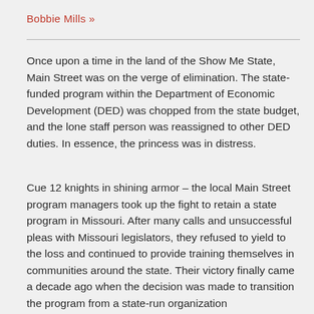Bobbie Mills »
Once upon a time in the land of the Show Me State, Main Street was on the verge of elimination. The state-funded program within the Department of Economic Development (DED) was chopped from the state budget, and the lone staff person was reassigned to other DED duties. In essence, the princess was in distress.
Cue 12 knights in shining armor – the local Main Street program managers took up the fight to retain a state program in Missouri. After many calls and unsuccessful pleas with Missouri legislators, they refused to yield to the loss and continued to provide training themselves in communities around the state. Their victory finally came a decade ago when the decision was made to transition the program from a state-run organization